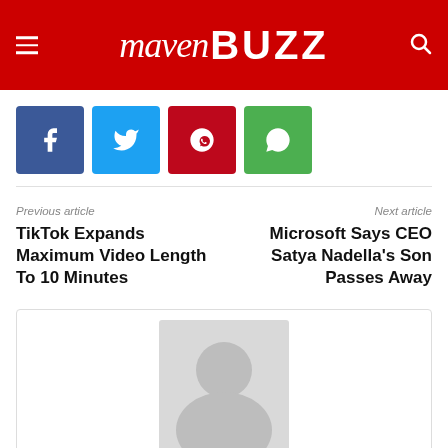MavenBuzz
[Figure (illustration): Social share buttons: Facebook (blue), Twitter (light blue), Pinterest (dark red), WhatsApp (green)]
Previous article
TikTok Expands Maximum Video Length To 10 Minutes
Next article
Microsoft Says CEO Satya Nadella’s Son Passes Away
[Figure (illustration): Author avatar placeholder image - grey silhouette on light grey background]